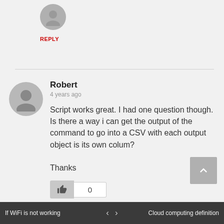[Figure (illustration): Small circular avatar icon with grey silhouette of a person]
REPLY
Robert
4 years ago
Script works great. I had one question though.  Is there a way i can get the output of the command to go into a CSV with each output object is its own colum?

Thanks
[Figure (illustration): Thumbs up like button with vote count of 0]
REPLY
If WiFi is not working   <   >   Cloud computing definition